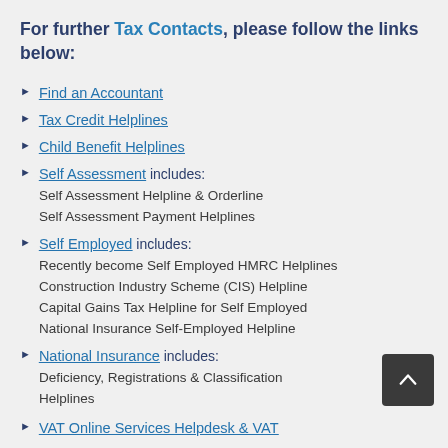For further Tax Contacts, please follow the links below:
Find an Accountant
Tax Credit Helplines
Child Benefit Helplines
Self Assessment includes: Self Assessment Helpline & Orderline Self Assessment Payment Helplines
Self Employed includes: Recently become Self Employed HMRC Helplines Construction Industry Scheme (CIS) Helpline Capital Gains Tax Helpline for Self Employed National Insurance Self-Employed Helpline
National Insurance includes: Deficiency, Registrations & Classifications Helplines
VAT Online Services Helpdesk & VAT